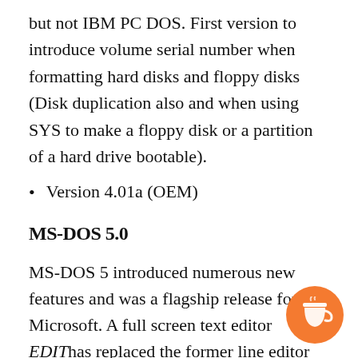but not IBM PC DOS. First version to introduce volume serial number when formatting hard disks and floppy disks (Disk duplication also and when using SYS to make a floppy disk or a partition of a hard drive bootable).
Version 4.01a (OEM)
MS-DOS 5.0
MS-DOS 5 introduced numerous new features and was a flagship release for Microsoft. A full screen text editor EDIThas replaced the former line editor EDLIN supplied since the early days of DOS. Microsoft QBasic also shipped in DOS replacing GW-BASIC. MS-DOS 5 also supported